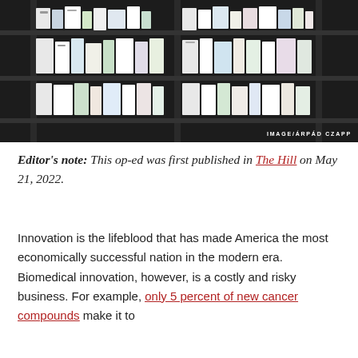[Figure (photo): Pharmacy shelves stocked with numerous medicine boxes and pharmaceutical products, dark shelving units visible. Photo credit reads IMAGE/ÁRPÁD CZAPP.]
Editor's note: This op-ed was first published in The Hill on May 21, 2022.
Innovation is the lifeblood that has made America the most economically successful nation in the modern era. Biomedical innovation, however, is a costly and risky business. For example, only 5 percent of new cancer compounds make it to